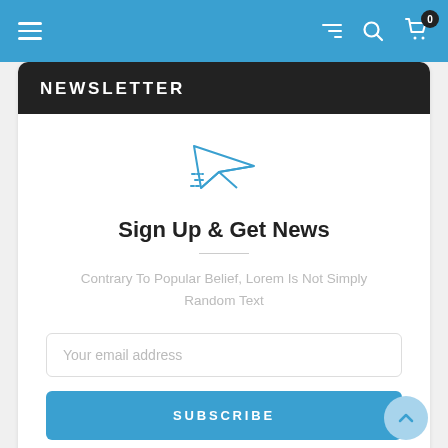Navigation bar with hamburger menu, filter, search, and cart icons (badge: 0)
NEWSLETTER
[Figure (illustration): Paper plane icon in blue outline style]
Sign Up & Get News
Contrary To Popular Belief, Lorem Is Not Simply Random Text
Your email address
SUBSCRIBE